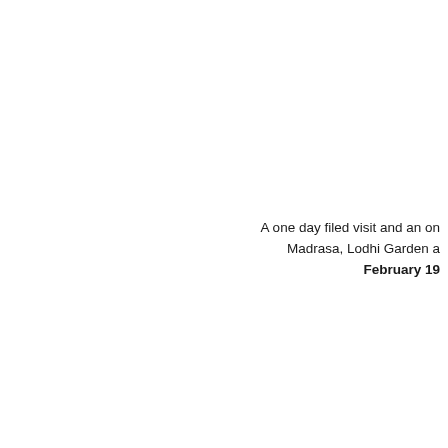A one day filed visit and an on... Madrasa, Lodhi Garden a... February 19